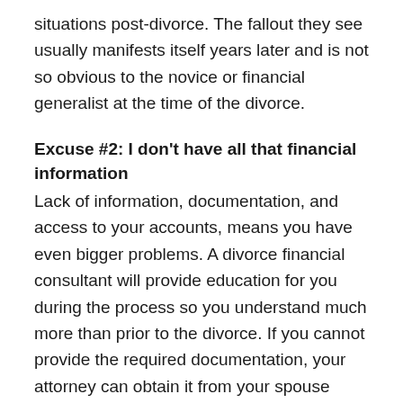situations post-divorce. The fallout they see usually manifests itself years later and is not so obvious to the novice or financial generalist at the time of the divorce.
Excuse #2: I don't have all that financial information
Lack of information, documentation, and access to your accounts, means you have even bigger problems. A divorce financial consultant will provide education for you during the process so you understand much more than prior to the divorce. If you cannot provide the required documentation, your attorney can obtain it from your spouse through his/her attorney. This is part of the "discovery" phase of your divorce.
Excuse #3: I don't have the time to deal with another professional
Just a poor excuse. You won't get much sympathy from